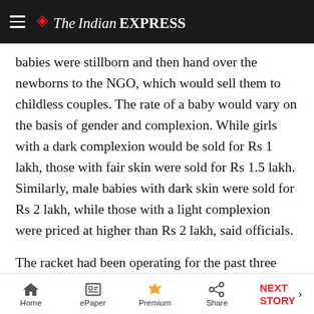The Indian EXPRESS
babies were stillborn and then hand over the newborns to the NGO, which would sell them to childless couples. The rate of a baby would vary on the basis of gender and complexion. While girls with a dark complexion would be sold for Rs 1 lakh, those with fair skin were sold for Rs 1.5 lakh. Similarly, male babies with dark skin were sold for Rs 2 lakh, while those with a light complexion were priced at higher than Rs 2 lakh, said officials.
The racket had been operating for the past three years, and involved a dozen nursing homes in Kolkata, sources claimed. Newborns were sold in Mumbai and Delhi as well, and the CID is also probing the possibility of deals
Home  ePaper  Premium  Share  NEXT STORY